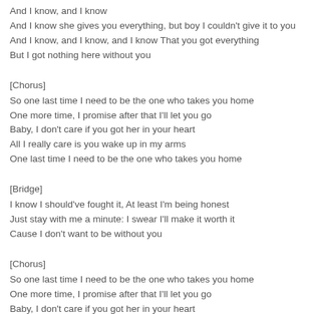And I know, and I know
And I know she gives you everything, but boy I couldn't give it to you
And I know, and I know, and I know That you got everything
But I got nothing here without you
[Chorus]
So one last time I need to be the one who takes you home
One more time, I promise after that I'll let you go
Baby, I don't care if you got her in your heart
All I really care is you wake up in my arms
One last time I need to be the one who takes you home
[Bridge]
I know I should've fought it, At least I'm being honest
Just stay with me a minute: I swear I'll make it worth it
Cause I don't want to be without you
[Chorus]
So one last time I need to be the one who takes you home
One more time, I promise after that I'll let you go
Baby, I don't care if you got her in your heart
All I really care is you wake up in my arms
One last time I need to be the one who takes you home